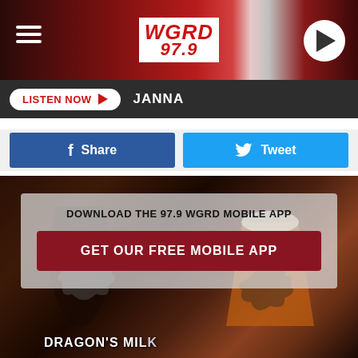[Figure (screenshot): WGRD 97.9 radio station mobile app screenshot showing header with logo, hamburger menu, play button, Listen Now bar with JANNA text, Facebook Share and Twitter Tweet buttons, and a promotional overlay for downloading the 97.9 WGRD Mobile App over a Dragon's Milk beer bottle and glass photo]
WGRD 97.9
LISTEN NOW  JANNA
Share
Tweet
DOWNLOAD THE 97.9 WGRD MOBILE APP
GET OUR FREE MOBILE APP
DRAGON'S MILK